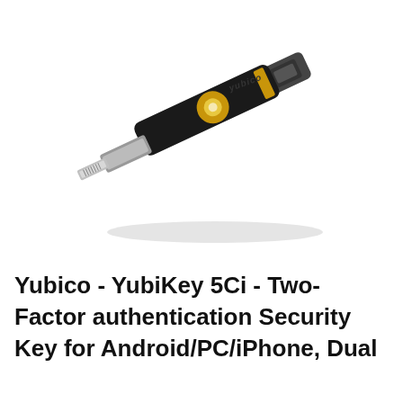[Figure (photo): A Yubico YubiKey 5Ci security key shown diagonally. The device is black with a gold contact circle in the center. It has a USB-C connector on the top-right end and a Lightning connector on the bottom-left end. The word 'yubico' is engraved on the top surface.]
Yubico - YubiKey 5Ci - Two-Factor authentication Security Key for Android/PC/iPhone, Dual